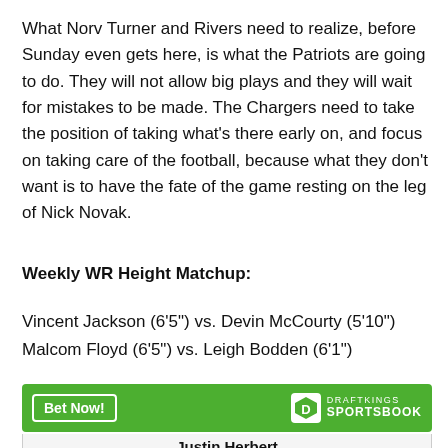What Norv Turner and Rivers need to realize, before Sunday even gets here, is what the Patriots are going to do. They will not allow big plays and they will wait for mistakes to be made. The Chargers need to take the position of taking what's there early on, and focus on taking care of the football, because what they don't want is to have the fate of the game resting on the leg of Nick Novak.
Weekly WR Height Matchup:
Vincent Jackson (6'5") vs. Devin McCourty (5'10")
Malcom Floyd (6'5") vs. Leigh Bodden (6'1")
[Figure (other): DraftKings Sportsbook advertisement banner with green background, 'Bet Now!' button, and DraftKings Sportsbook logo]
Justin Herbert